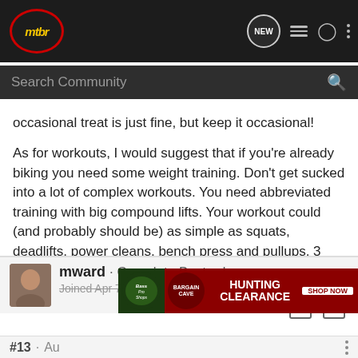mtbr — navigation bar with search
occasional treat is just fine, but keep it occasional!
As for workouts, I would suggest that if you're already biking you need some weight training. Don't get sucked into a lot of complex workouts. You need abbreviated training with big compound lifts. Your workout could (and probably should be) as simple as squats, deadlifts, power cleans, bench press and pullups. 3 times a week.
mward · Complete Bastard
Joined Apr 7, 2004 · 2,282 Posts
[Figure (screenshot): Bass Pro Shops Hunting Bargain Cave Clearance advertisement banner with Shop Now button]
#13 · Au